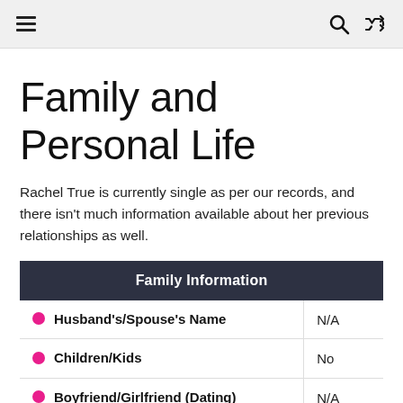Navigation bar with hamburger menu, search, and shuffle icons
Family and Personal Life
Rachel True is currently single as per our records, and there isn't much information available about her previous relationships as well.
| Family Information |
| --- |
| Husband's/Spouse's Name | N/A |
| Children/Kids | No |
| Boyfriend/Girlfriend (Dating) | N/A |
| Civil Status | Single |